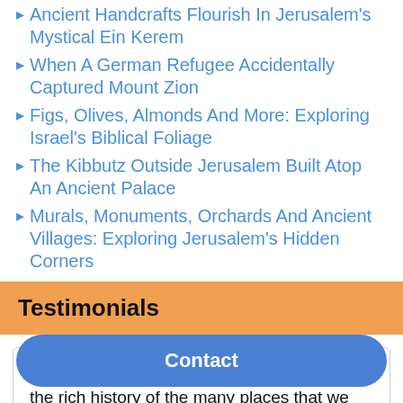Ancient Handcrafts Flourish In Jerusalem's Mystical Ein Kerem
When A German Refugee Accidentally Captured Mount Zion
Figs, Olives, Almonds And More: Exploring Israel's Biblical Foliage
The Kibbutz Outside Jerusalem Built Atop An Ancient Palace
Murals, Monuments, Orchards And Ancient Villages: Exploring Jerusalem's Hidden Corners
Testimonials
Shmuel's guidance was fantastic. He brought the rich history of the many places that we visited to life, and took us to places that we would never have visited on our own. We will recommend your services enthusiastically to anyone planning a trip to Israel.